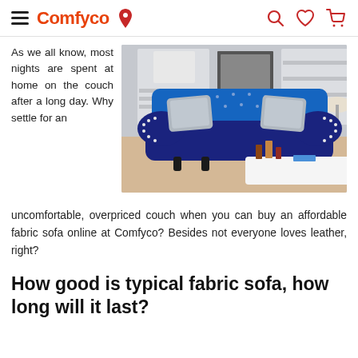Comfyco [hamburger menu, location icon, search, heart, cart icons]
As we all know, most nights are spent at home on the couch after a long day. Why settle for an
[Figure (photo): A luxurious navy blue tufted velvet sofa with nailhead trim and decorative pillows in a living room setting]
uncomfortable, overpriced couch when you can buy an affordable fabric sofa online at Comfyco? Besides not everyone loves leather, right?
How good is typical fabric sofa, how long will it last?